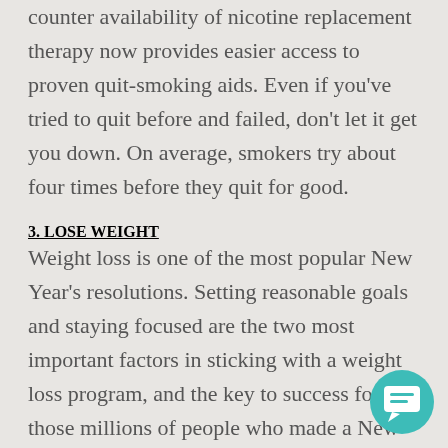counter availability of nicotine replacement therapy now provides easier access to proven quit-smoking aids. Even if you've tried to quit before and failed, don't let it get you down. On average, smokers try about four times before they quit for good.
3. LOSE WEIGHT
Weight loss is one of the most popular New Year's resolutions. Setting reasonable goals and staying focused are the two most important factors in sticking with a weight loss program, and the key to success for those millions of people who made a New Year's commitment to shed extra pounds.